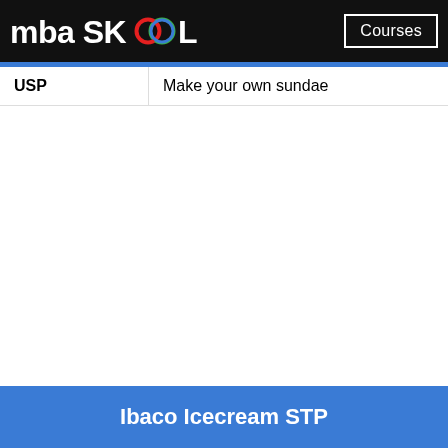mba SKOOL   Courses
| USP | Make your own sundae |
| --- | --- |
Ibaco Icecream STP